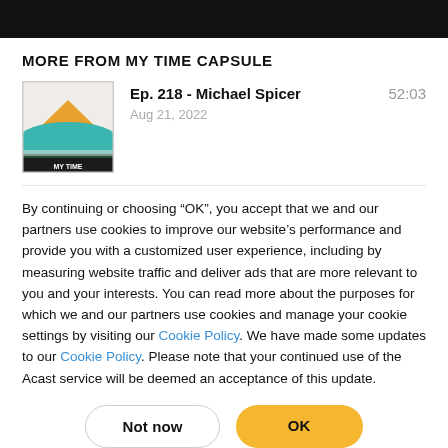MORE FROM MY TIME CAPSULE
[Figure (illustration): Podcast cover art showing layered mountain/landscape illustration with orange, teal, and dark green layers, text MY TIME at bottom]
Ep. 218 - Michael Spicer
Aug 21, 2022
52:03
By continuing or choosing “OK”, you accept that we and our partners use cookies to improve our website’s performance and provide you with a customized user experience, including by measuring website traffic and deliver ads that are more relevant to you and your interests. You can read more about the purposes for which we and our partners use cookies and manage your cookie settings by visiting our Cookie Policy. We have made some updates to our Cookie Policy. Please note that your continued use of the Acast service will be deemed an acceptance of this update.
Not now
OK